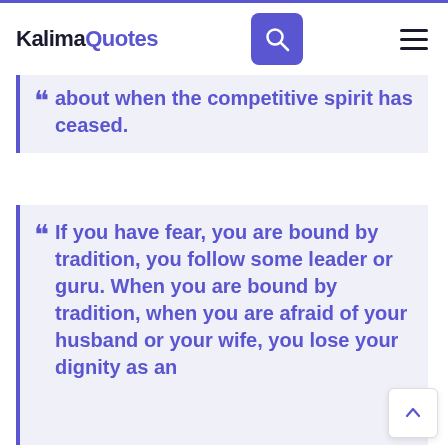KalimaQuotes
about when the competitive spirit has ceased.
If you have fear, you are bound by tradition, you follow some leader or guru. When you are bound by tradition, when you are afraid of your husband or your wife, you lose your dignity as an